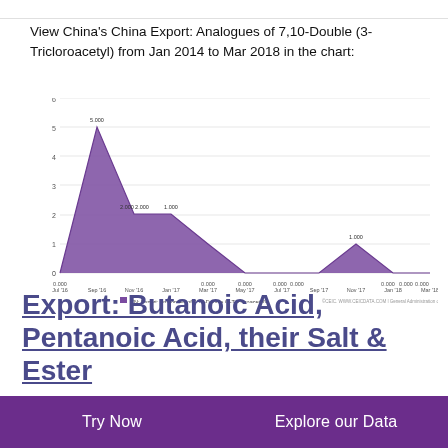View China's China Export: Analogues of 7,10-Double (3-Tricloroacetyl) from Jan 2014 to Mar 2018 in the chart:
[Figure (area-chart): CN: Export: Analogues of 7,10-Double (3-Tricloroacetyl)]
Export: Butanoic Acid, Pentanoic Acid, their Salt & Ester
Try Now    Explore our Data